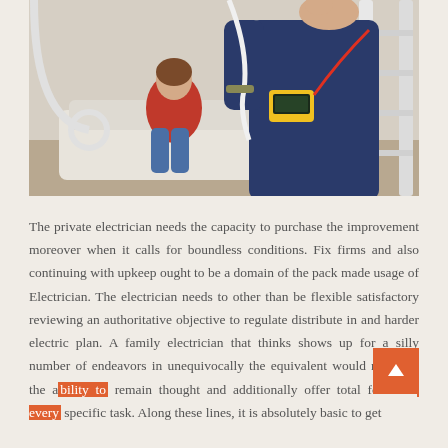[Figure (photo): An electrician in dark blue work uniform on a ladder holding wires, with a yellow multimeter attached to his arm. In the background, a woman in a red top and jeans sits on a white sofa in a living room.]
The private electrician needs the capacity to purchase the improvement moreover when it calls for boundless conditions. Fix firms and also continuing with upkeep ought to be a domain of the pack made usage of Electrician. The electrician needs to other than be flexible satisfactory reviewing an authoritative objective to regulate distribute in and harder electric plan. A family electrician that thinks shows up for a silly number of endeavors in unequivocally the equivalent would not have the ability to remain thought and additionally offer total focus on every specific task. Along these lines, it is absolutely basic to get